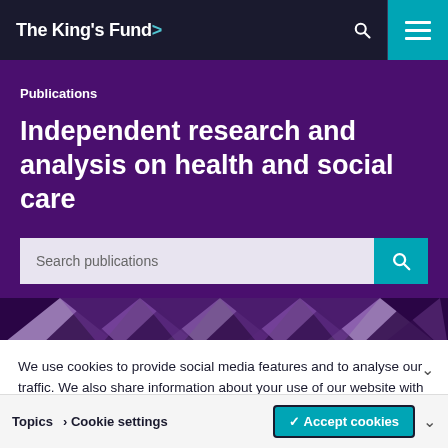The King's Fund>
Publications
Independent research and analysis on health and social care
Search publications
We use cookies to provide social media features and to analyse our traffic. We also share information about your use of our website with our social media and analytics partners. Find out how we collect, use and store your data.
Topics  > Cookie settings  ✓ Accept cookies